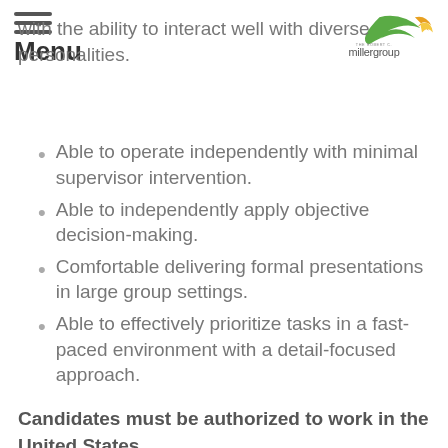with the ability to interact well with diverse personalities.
[Figure (logo): The Robert C. Miller Group logo with green swoosh and orange/yellow bird graphic, text reads 'THE ROBERT C. millergroup']
Able to operate independently with minimal supervisor intervention.
Able to independently apply objective decision-making.
Comfortable delivering formal presentations in large group settings.
Able to effectively prioritize tasks in a fast-paced environment with a detail-focused approach.
Candidates must be authorized to work in the United States.
Offers are contingent on passing post offer